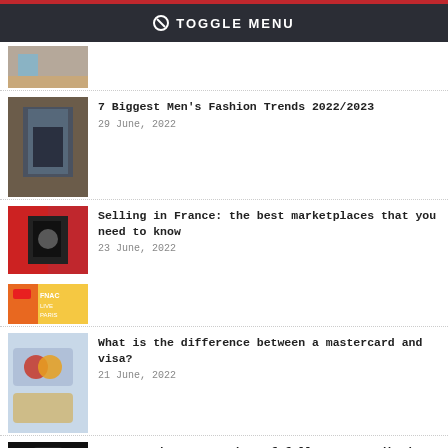TOGGLE MENU
[Figure (photo): Partial article thumbnail showing a room with blue chair]
[Figure (photo): Man in brown jacket and dark shirt - fashion article thumbnail]
7 Biggest Men's Fashion Trends 2022/2023
29 June, 2022
[Figure (photo): Woman in black and white outfit on red background - France marketplace article thumbnail]
Selling in France: the best marketplaces that you need to know
23 June, 2022
[Figure (photo): FNAC Live Paris poster thumbnail]
[Figure (photo): Mastercard and Visa credit cards on keyboard thumbnail]
What is the difference between a mastercard and visa?
21 June, 2022
[Figure (photo): TikTok on phone - partial thumbnail]
How to make your number of followers on TikTok grow quickly?